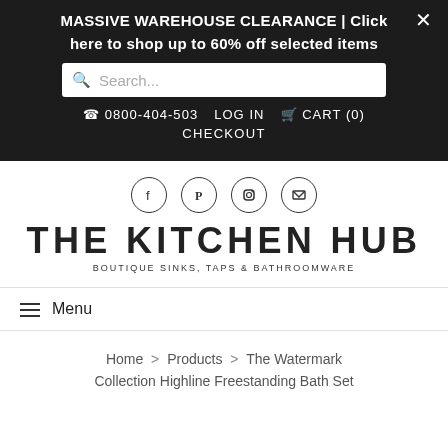MASSIVE WAREHOUSE CLEARANCE | Click here to shop up to 60% off selected items
Search...
☎ 0800-404-503   LOG IN   🛒 CART (0)   CHECKOUT
[Figure (logo): Social media icons: Facebook, Pinterest, Instagram, Email in circles]
THE KITCHEN HUB
BOUTIQUE SINKS, TAPS & BATHROOMWARE
☰ Menu
Home > Products > The Watermark Collection Highline Freestanding Bath Set